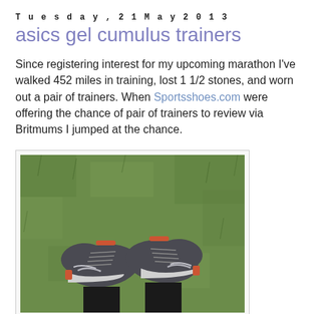Tuesday, 21 May 2013
asics gel cumulus trainers
Since registering interest for my upcoming marathon I've walked 452 miles in training, lost 1 1/2 stones, and worn out a pair of trainers. When Sportsshoes.com were offering the chance of pair of trainers to review via Britmums I jumped at the chance.
[Figure (photo): Looking down at a person's feet wearing grey and orange ASICS Gel Cumulus running trainers, standing on green grass, with black running leggings visible.]